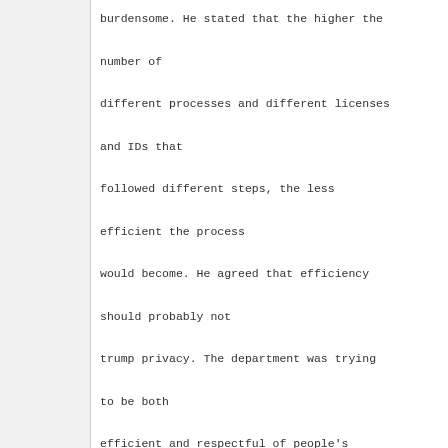burdensome. He stated that the higher the number of different processes and different licenses and IDs that followed different steps, the less efficient the process would become. He agreed that efficiency should probably not trump privacy. The department was trying to be both efficient and respectful of people's privacy. The goal was to develop a system and approach that would allow exceptional customer service.
2:38:07 PM